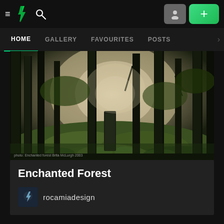DeviantArt navigation bar with hamburger menu, DA logo, search icon, profile button, and add button
HOME | GALLERY | FAVOURITES | POSTS
[Figure (photo): Enchanted forest scene with tall dark tree trunks, green undergrowth, and misty sunlight filtering through the trees. Photo credit text visible in lower left.]
photo credit watermark text
Enchanted Forest
rocamiadesign